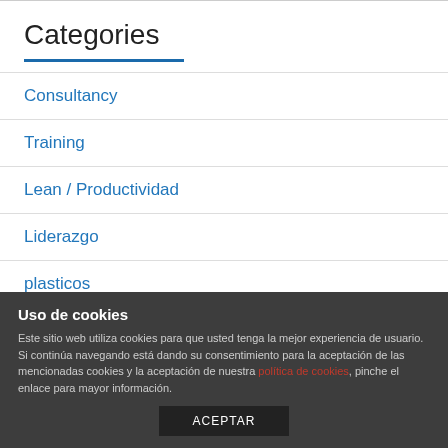Categories
Consultancy
Training
Lean / Productividad
Liderazgo
plasticos
Productividad
Recursos Humanos
Uso de cookies
Este sitio web utiliza cookies para que usted tenga la mejor experiencia de usuario. Si continúa navegando está dando su consentimiento para la aceptación de las mencionadas cookies y la aceptación de nuestra política de cookies, pinche el enlace para mayor información.